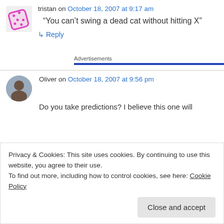tristan on October 18, 2007 at 9:17 am
“You can’t swing a dead cat without hitting X”
↳ Reply
Advertisements
Oliver on October 18, 2007 at 9:56 pm
Do you take predictions? I believe this one will
Privacy & Cookies: This site uses cookies. By continuing to use this website, you agree to their use.
To find out more, including how to control cookies, see here: Cookie Policy
Close and accept